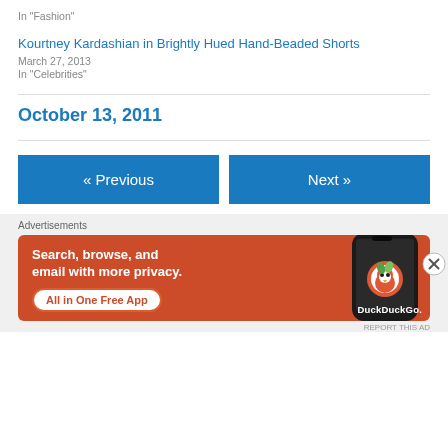In "Fashion"
Kourtney Kardashian in Brightly Hued Hand-Beaded Shorts
March 27, 2013
In "Celebrities"
October 13, 2011
« Previous
Next »
Advertisements
[Figure (other): DuckDuckGo advertisement banner: orange background with text 'Search, browse, and email with more privacy. All in One Free App' and a phone mockup showing DuckDuckGo logo]